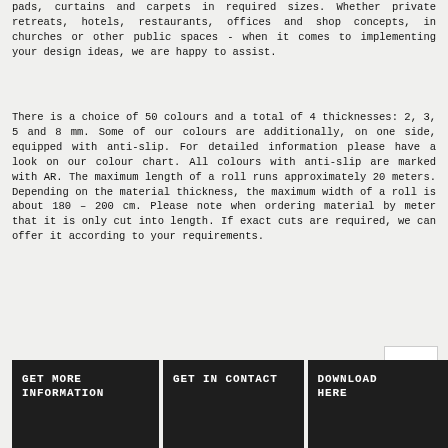pads, curtains and carpets in required sizes. Whether private retreats, hotels, restaurants, offices and shop concepts, in churches or other public spaces - when it comes to implementing your design ideas, we are happy to assist.
There is a choice of 50 colours and a total of 4 thicknesses: 2, 3, 5 and 8 mm. Some of our colours are additionally, on one side, equipped with anti-slip. For detailed information please have a look on our colour chart. All colours with anti-slip are marked with AR. The maximum length of a roll runs approximately 20 meters. Depending on the material thickness, the maximum width of a roll is about 180 – 200 cm. Please note when ordering material by meter that it is only cut into length. If exact cuts are required, we can offer it according to your requirements.
GET MORE INFORMATION
GET IN CONTACT
DOWNLOAD HERE